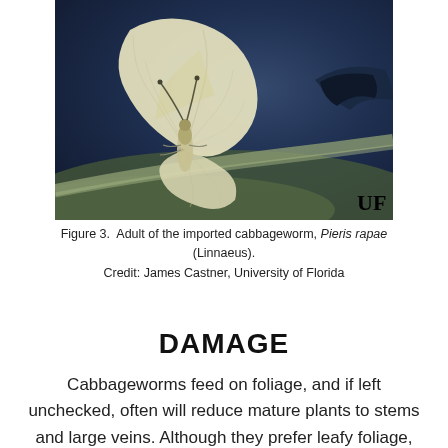[Figure (photo): Close-up photograph of an adult imported cabbageworm butterfly (Pieris rapae) resting on a leaf. The butterfly has pale yellowish-white wings with visible veining. The background is dark blue-grey (leaf surface). A 'UF' watermark appears in the lower right corner.]
Figure 3.  Adult of the imported cabbageworm, Pieris rapae (Linnaeus).
Credit: James Castner, University of Florida
DAMAGE
Cabbageworms feed on foliage, and if left unchecked, often will reduce mature plants to stems and large veins. Although they prefer leafy foliage, larvae may burrow into the heads of